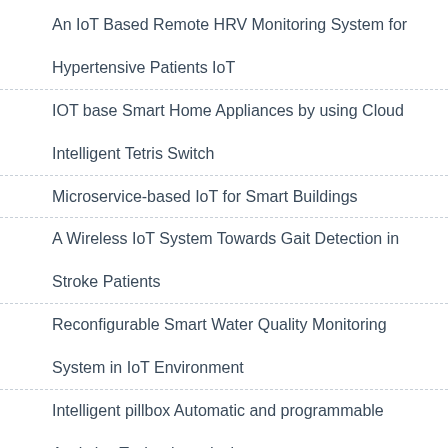An IoT Based Remote HRV Monitoring System for Hypertensive Patients IoT
IOT base Smart Home Appliances by using Cloud Intelligent Tetris Switch
Microservice-based IoT for Smart Buildings
A Wireless IoT System Towards Gait Detection in Stroke Patients
Reconfigurable Smart Water Quality Monitoring System in IoT Environment
Intelligent pillbox Automatic and programmable Assistive Technology device